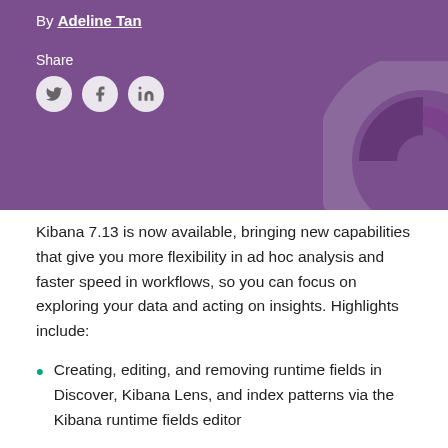By Adeline Tan
Share
[Figure (illustration): Social media share icons: Twitter, Facebook, LinkedIn as circular buttons]
[Figure (illustration): Decorative purple/grey circular arc graphic in top-right corner of header]
Kibana 7.13 is now available, bringing new capabilities that give you more flexibility in ad hoc analysis and faster speed in workflows, so you can focus on exploring your data and acting on insights. Highlights include:
Creating, editing, and removing runtime fields in Discover, Kibana Lens, and index patterns via the Kibana runtime fields editor
The general availability of Elastic Maps Server and